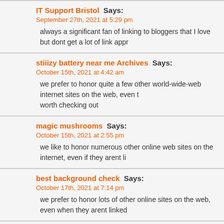IT Support Bristol Says:
September 27th, 2021 at 5:29 pm
always a significant fan of linking to bloggers that I love but dont get a lot of link appr
stiiizy battery near me Archives Says:
October 15th, 2021 at 4:42 am
we prefer to honor quite a few other world-wide-web internet sites on the web, even t worth checking out
magic mushrooms Says:
October 15th, 2021 at 2:55 pm
we like to honor numerous other online web sites on the internet, even if they arent li
best background check Says:
October 17th, 2021 at 7:14 pm
we prefer to honor lots of other online sites on the web, even when they arent linked
marble fox for sale Says:
October 19th, 2021 at 10:57 pm
usually posts some quite interesting stuff like this. If youre new to this site